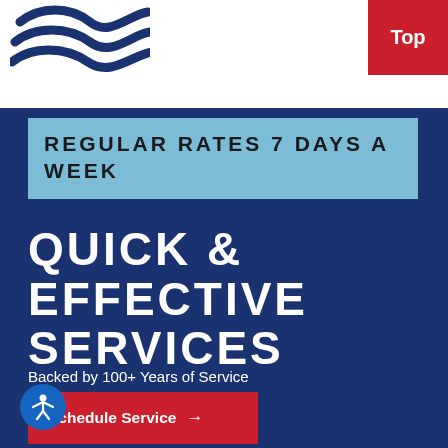[Figure (logo): Dark blue wave/swoosh logo in top-left white header area]
Top
REGULAR RATES 7 DAYS A WEEK
QUICK & EFFECTIVE SERVICES
Backed by 100+ Years of Service
Schedule Service →
[Figure (illustration): Blue circular accessibility icon with white person figure]